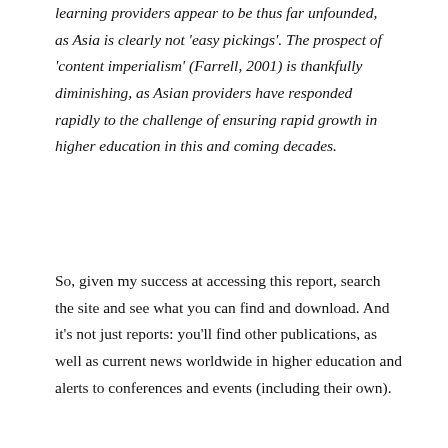learning providers appear to be thus far unfounded, as Asia is clearly not 'easy pickings'. The prospect of 'content imperialism' (Farrell, 2001) is thankfully diminishing, as Asian providers have responded rapidly to the challenge of ensuring rapid growth in higher education in this and coming decades.
So, given my success at accessing this report, search the site and see what you can find and download. And it's not just reports: you'll find other publications, as well as current news worldwide in higher education and alerts to conferences and events (including their own).